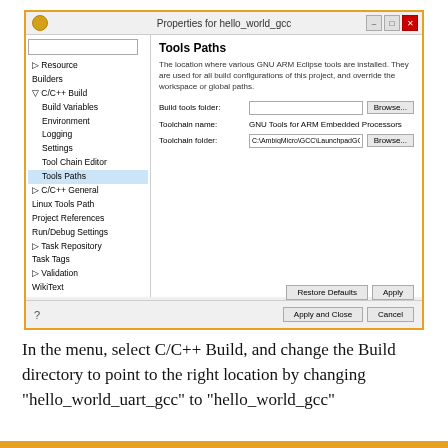[Figure (screenshot): Eclipse IDE Properties dialog for hello_world_gcc project, showing Tools Paths panel with Build tools folder, Toolchain name (GNU Tools for ARM Embedded Processors), and Toolchain folder (C:\AmbiqMicro\GCC\LaunchpadGCC\bin). Left navigation tree shows Resource, Builders, C/C++ Build (expanded with Build Variables, Environment, Logging, Settings, Tool Chain Editor, Tools Paths selected), C/C++ General, Linux Tools Path, Project References, Run/Debug Settings, Task Repository, Task Tags, Validation, WikiText.]
In the menu, select C/C++ Build, and change the Build directory to point to the right location by changing “hello_world_uart_gcc”  to “hello_world_gcc”